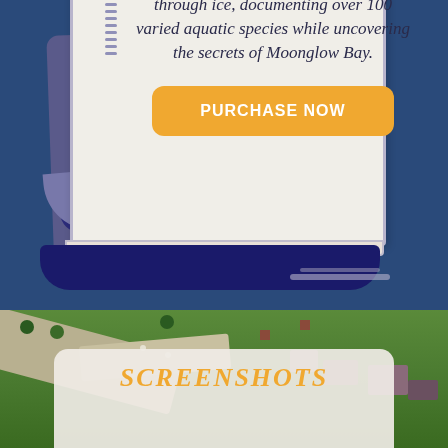[Figure (illustration): Illustrated open book with cream-colored pages on a dark blue background. The book shows text about fishing trips and aquatic species in Moonglow Bay, with a yellow 'PURCHASE NOW' button on the right page.]
through ice, documenting over 100 varied aquatic species while uncovering the secrets of Moonglow Bay.
PURCHASE NOW
[Figure (screenshot): Aerial view screenshot of a low-poly game environment showing green terrain with a road, small purple/mauve buildings, trees, and other landscape elements.]
SCREENSHOTS